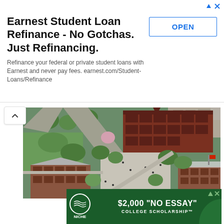[Figure (other): Advertisement banner for Earnest Student Loan Refinance. Title: 'Earnest Student Loan Refinance - No Gotchas. Just Refinancing.' Subtitle: 'Refinance your federal or private student loans with Earnest and never pay fees. earnest.com/Student-Loans/Refinance'. Button: 'OPEN'.]
[Figure (photo): Aerial view of a university campus with historic brick buildings, green trees, pathways, and students walking around courtyards.]
[Figure (other): Advertisement for Niche $2,000 'NO ESSAY' COLLEGE SCHOLARSHIP with green background and Niche logo.]